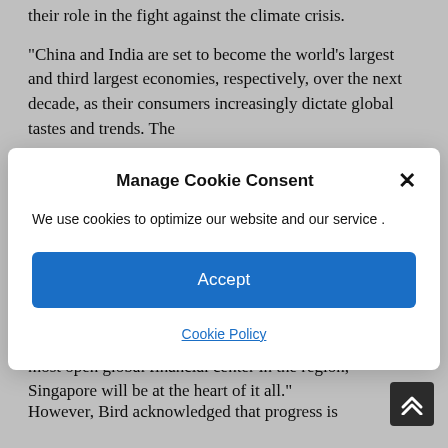their role in the fight against the climate crisis.
"China and India are set to become the world's largest and third largest economies, respectively, over the next decade, as their consumers increasingly dictate global tastes and trends. The
[Figure (screenshot): Cookie consent modal dialog with title 'Manage Cookie Consent', close button (×), body text 'We use cookies to optimize our website and our service .', a blue 'Accept' button, and a 'Cookie Policy' link.]
economies that need to be better leveraged. And, as the most open global financial center in the region, Singapore will be at the heart of it all."
However, Bird acknowledged that progress is